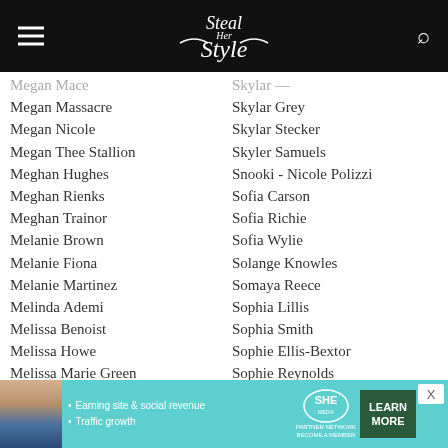Steal Her Style
Megan Mace
Megan Massacre
Megan Nicole
Megan Thee Stallion
Meghan Hughes
Meghan Rienks
Meghan Trainor
Melanie Brown
Melanie Fiona
Melanie Martinez
Melinda Ademi
Melissa Benoist
Melissa Howe
Melissa Marie Green
Melissa Satta
Mena Suvari
Mercedes Arn-Horn
Meredith Foster
MIA
Michele Selene Ang
Skylar Grey
Skylar Stecker
Skyler Samuels
Snooki - Nicole Polizzi
Sofia Carson
Sofia Richie
Sofia Wylie
Solange Knowles
Somaya Reece
Sophia Lillis
Sophia Smith
Sophie Ellis-Bextor
Sophie Reynolds
Sophie Turner
SoShy
Sosie Bacon
St. Vincent
Stacy DuPree-King
Stefanie Giesinger
[Figure (infographic): SHE Partner Network advertisement banner with photo, text bullets and Learn More button]